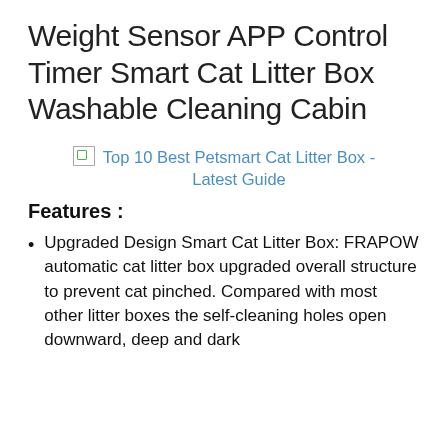Weight Sensor APP Control Timer Smart Cat Litter Box Washable Cleaning Cabin
[Figure (illustration): Broken image placeholder with link text: Top 10 Best Petsmart Cat Litter Box - Latest Guide]
Features :
Upgraded Design Smart Cat Litter Box: FRAPOW automatic cat litter box upgraded overall structure to prevent cat pinched. Compared with most other litter boxes the self-cleaning holes open downward, deep and dark